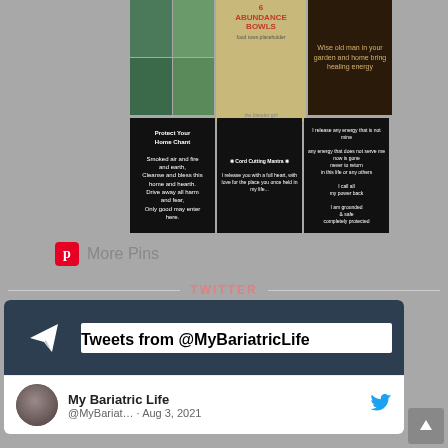[Figure (photo): Pinterest grid of pins - top row: nature/garden collage, abundance bowls food chart, candle/healing energy image]
[Figure (photo): Pinterest grid of pins - bottom row: Protect Your Home Chant text, Cord Cutting Mantra text, I release energy text on dark backgrounds]
More Pins
TWITTER
[Figure (screenshot): Twitter widget showing Tweets from @MyBariatricLife with profile: My Bariatric Life @MyBariat... Aug 3, 2021]